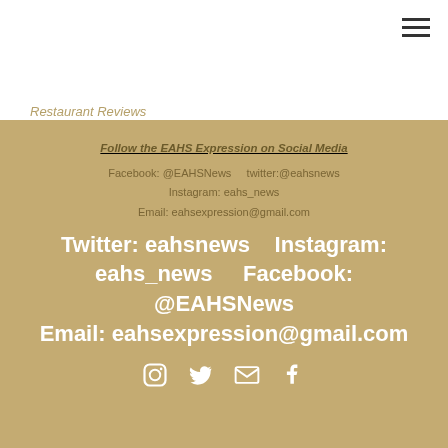Restaurant Reviews
Follow the EAHS Expression on Social Media
Facebook: @EAHSNews    twitter:@eahsnews
Instagram: eahs_news
Email: eahsexpression@gmail.com
Twitter: eahsnews    Instagram: eahs_news    Facebook: @EAHSNews
Email: eahsexpression@gmail.com
[Figure (other): Social media icons: Instagram, Twitter, Email, Facebook]